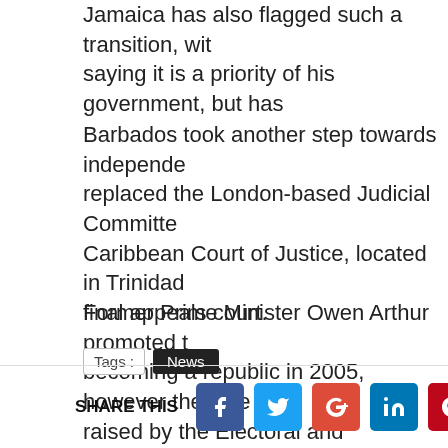Jamaica has also flagged such a transition, with saying it is a priority of his government, but has
Barbados took another step towards independence replaced the London-based Judicial Committee Caribbean Court of Justice, located in Trinidad final appeals court.
Former Prime Minister Owen Arthur promoted becoming a republic in 2005, however the vote raised by the Electoral and Boundaries Commi
Tags : News
SHARE THIS